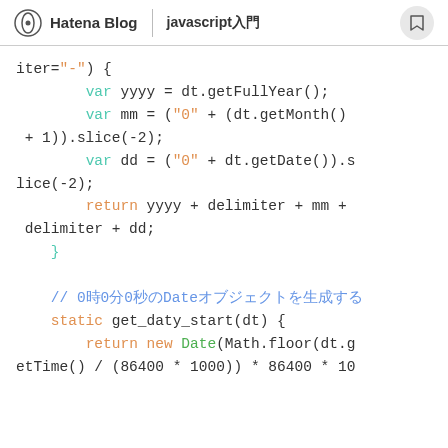Hatena Blog | javascript入門
[Figure (screenshot): Code snippet showing JavaScript code with syntax highlighting: variable declarations for yyyy, mm, dd using dt.getFullYear(), dt.getMonth(), dt.getDate(), return statement, and get_daty_start static method using new Date(Math.floor(dt.getTime() / (86400 * 1000)) * 86400 * 10]